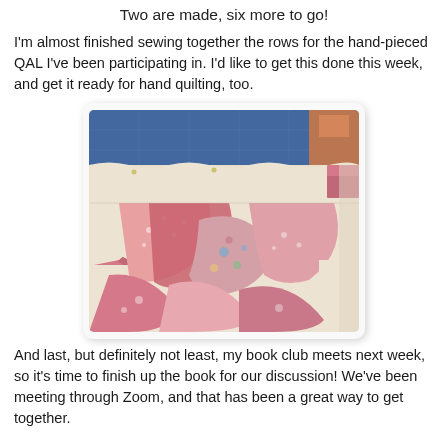Two are made, six more to go!
I'm almost finished sewing together the rows for the hand-pieced QAL I've been participating in.  I'd like to get this done this week, and get it ready for hand quilting, too.
[Figure (photo): Close-up photograph of a hand-pieced quilt with pink, cream, and floral curved fan blocks being sewn together, placed on a blue cutting mat with pins.]
And last, but definitely not least, my book club meets next week, so it's time to finish up the book for our discussion! We've been meeting through Zoom, and that has been a great way to get together.